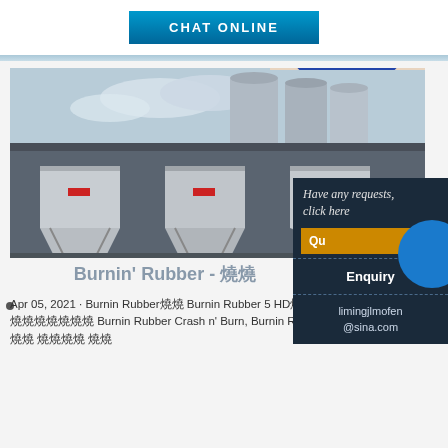CHAT ONLINE
[Figure (photo): Industrial facility with large metal grain/cement silos and a building with loading hoppers in the foreground. Customer service agent (woman with headset) overlaid on the right side with a popup panel.]
Burnin' Rubber - 燒
Apr 05, 2021 · Burnin Rubber燒燒 Burnin Rubber 5 HD燒燒 燒燒燒 燒燒燒 燒燒燒 燒燒燒燒燒燒燒 Burnin Rubber Crash n' Burn, Burnin Rubber Shift燒 燒燒, 2007燒燒燒 燒燒燒燒 燒燒